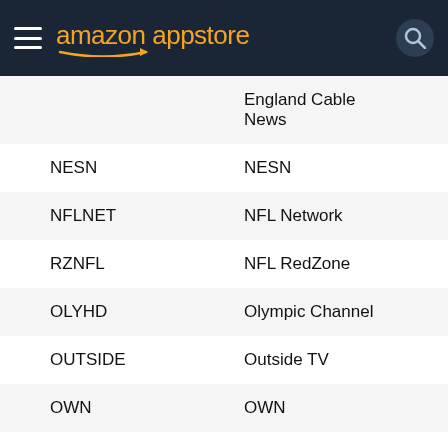[Figure (screenshot): Amazon Appstore navigation header with hamburger menu, Amazon Appstore logo in orange, and search icon]
| Code | Channel Name |
| --- | --- |
|  | England Cable News |
| NESN | NESN |
| NFLNET | NFL Network |
| RZNFL | NFL RedZone |
| OLYHD | Olympic Channel |
| OUTSIDE | Outside TV |
| OWN | OWN |
| OXYGEN or GMOXYGP | Oxygen |
| POP or POPNS or POPSD | POP |